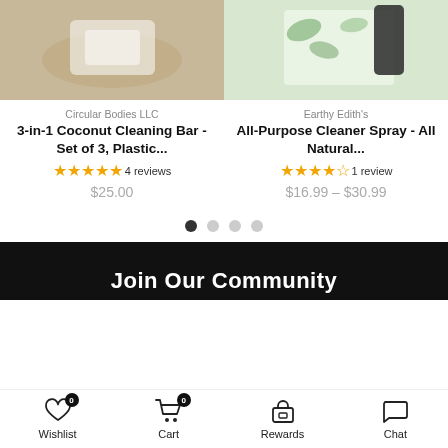[Figure (screenshot): Product card for '3-in-1 Coconut Cleaning Bar - Set of 3, Plastic...' by Circular Bodies LLC with 5-star rating (4 reviews), price $25.00, and a dark action bar with cart and heart icons]
[Figure (screenshot): Product card for 'All-Purpose Cleaner Spray - All Natural...' by Earthy Edith's with 4-star rating (1 review), price $16.99 – $30.99, and a dark action bar with cart and heart icons]
Circular Bodies LLC
3-in-1 Coconut Cleaning Bar - Set of 3, Plastic...
★★★★★ 4 reviews
$25.00
Earthy Edith's
All-Purpose Cleaner Spray - All Natural...
★★★★☆ 1 review
$16.99 – $30.99
Join Our Community
Wishlist  Cart  Rewards  Chat